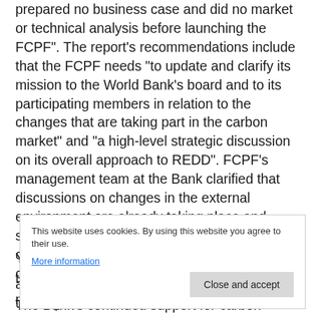surprised, since the Bank didn't do a feasibility study, prepared no business case and did no market or technical analysis before launching the FCPF". The report's recommendations include that the FCPF needs "to update and clarify its mission to the World Bank's board and to its participating members in relation to the changes that are taking part in the carbon market" and "a high-level strategic discussion on its overall approach to REDD". FCPF's management team at the Bank clarified that discussions on changes in the external environment are already taking place and supported the recommendation on REDD+, confirming that it "certainly entails significant challenges".
The Bank's continued support for carbon markets (see Update 81, 79, 78, 77) has been confirmed by president Jim Y... accusations of fraud (see Update 74) leading the City of
This website uses cookies. By using this website you agree to their use. More information
Close and accept